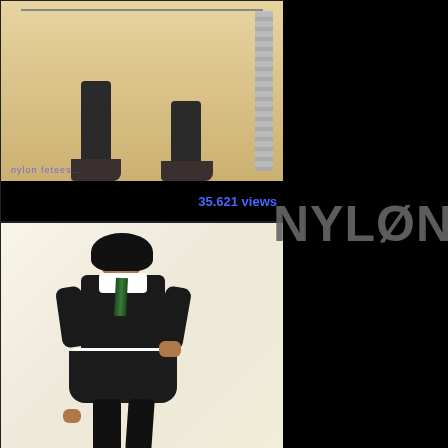[Figure (photo): Close-up photo showing legs and shoes on a wooden floor, with a watermark overlay and view count '35.621 views' displayed below]
[Figure (photo): Full-body photo of a young woman wearing a black sweater, white collared shirt, green striped tie, black skirt, and black tights against a cream/white background]
NYLON